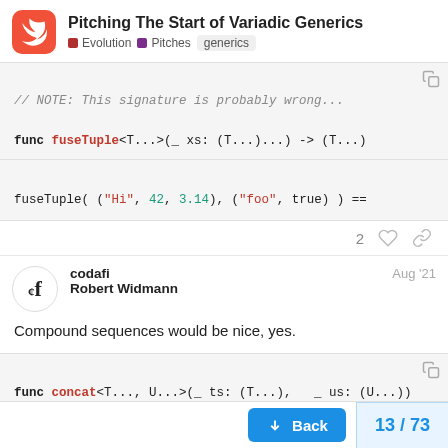Pitching The Start of Variadic Generics | Evolution | Pitches | generics
[Figure (screenshot): Code block showing Swift function signature: // NOTE: This signature is probably wrong... func fuseTuple<T...>(_ xs: (T...)...) -> (T...) and fuseTuple( ("Hi", 42, 3.14), ("foo", true) ) ==]
codafi  Robert Widmann  Aug '21
Compound sequences would be nice, yes.
[Figure (screenshot): Code block showing Swift function: func concat<T..., U...>(_ ts: (T...), _ us: (U...)) ->]
Unfortunately a little too advanced for the first g
13 / 73